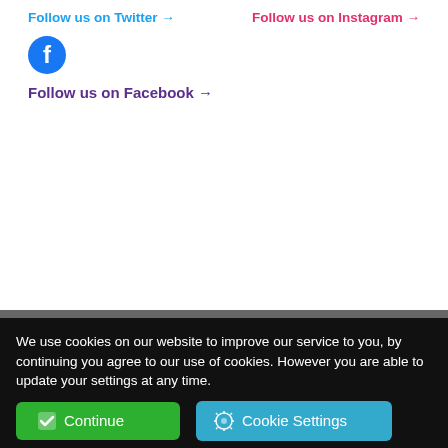Follow us on Twitter →
Follow us on Instagram →
[Figure (logo): Facebook logo icon (blue circle with white f)]
Follow us on Facebook →
[Figure (logo): Elmbridge Borough Council crest and name logo on dark grey background]
Links
We use cookies on our website to improve our service to you, by continuing you agree to our use of cookies. However you are able to update your settings at any time.